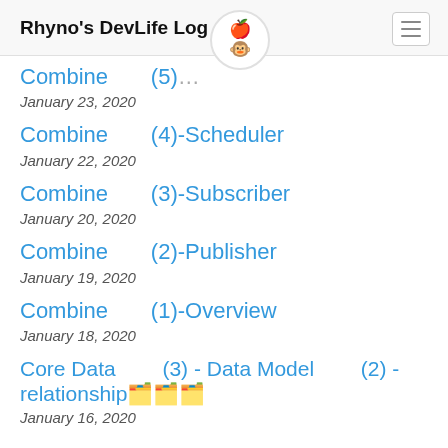Rhyno's DevLife Log
Combine (5)-... January 23, 2020
Combine (4)-Scheduler — January 22, 2020
Combine (3)-Subscriber — January 20, 2020
Combine (2)-Publisher — January 19, 2020
Combine (1)-Overview — January 18, 2020
Core Data (3) - Data Model (2) - relationship🗂️🗂️🗂️ — January 16, 2020